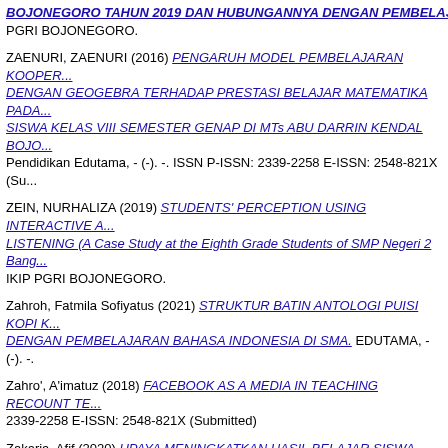BOJONEGORO TAHUN 2019 DAN HUBUNGANNYA DENGAN PEMBELAJARAN... PGRI BOJONEGORO.
ZAENURI, ZAENURI (2016) PENGARUH MODEL PEMBELAJARAN KOOPER... DENGAN GEOGEBRA TERHADAP PRESTASI BELAJAR MATEMATIKA PADA... SISWA KELAS VIII SEMESTER GENAP DI MTs ABU DARRIN KENDAL BOJO... Pendidikan Edutama, - (-). -. ISSN P-ISSN: 2339-2258 E-ISSN: 2548-821X (Su...
ZEIN, NURHALIZA (2019) STUDENTS' PERCEPTION USING INTERACTIVE A... LISTENING (A Case Study at the Eighth Grade Students of SMP Negeri 2 Bang... IKIP PGRI BOJONEGORO.
Zahroh, Fatmila Sofiyatus (2021) STRUKTUR BATIN ANTOLOGI PUISI KOPI K... DENGAN PEMBELAJARAN BAHASA INDONESIA DI SMA. EDUTAMA, - (-). -.
Zahro', A'imatuz (2018) FACEBOOK AS A MEDIA IN TEACHING RECOUNT TE... 2339-2258 E-ISSN: 2548-821X (Submitted)
Zakaria, Afif (2020) UPAYA MENINGKATKAN HASIL BELAJAR SISWA MATA P... Edutama, - (-). -. ISSN P-ISSN: 2339-2258 E-ISSN: 2548-821X (Submitted)
Zamroni, Imam (2021) PERAN GURU DALAM PEMBELAJARAN DARING ME... EKONOMI. EDUTAMA, - (-). -. ISSN 2548-281X (Unpublished)
Zamruddyn, Hero (2020) THE USE OF DIGITAL STORY TELLING TO IMPROV... Pendidikan Edutama, - (-). -. ISSN P-ISSN: 2339-2258 E-ISSN: 2548-821X (Su...
Zubaihah, Ika (2021) KESULITAN GURU DALAM PEMBELAJARAN MATEMAT... - (-). -. ISSN 2548-281X (Unpublished)
Zuhadi, Zuhadi (2020) ANALISIS GAYA BAHASA PADA LIRIK LAGU DALAM A... HUBUNGANNYA DENGAN PEMBELAJARAN BAHASA INDONESIA SMA. Ju...